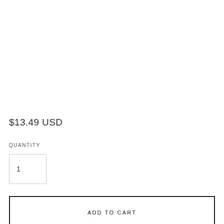$13.49 USD
QUANTITY
1
ADD TO CART